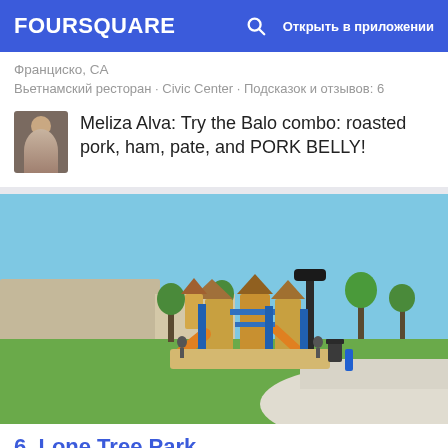FOURSQUARE  Открыть в приложении
Франциско, CA
Вьетнамский ресторан · Civic Center · Подсказок и отзывов: 6
Meliza Alva: Try the Balo combo: roasted pork, ham, pate, and PORK BELLY!
[Figure (photo): Outdoor playground at Lone Tree Park with colorful play structures, yellow slide, green lawn, and blue sky]
6. Lone Tree Park